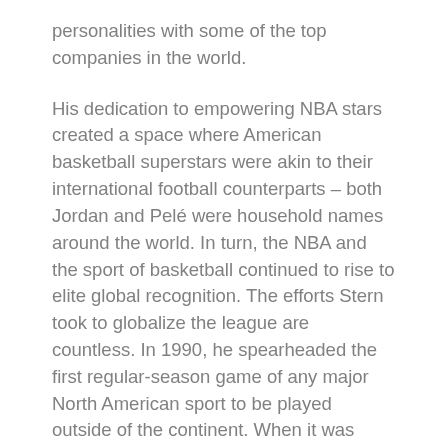personalities with some of the top companies in the world.
His dedication to empowering NBA stars created a space where American basketball superstars were akin to their international football counterparts – both Jordan and Pelé were household names around the world. In turn, the NBA and the sport of basketball continued to rise to elite global recognition. The efforts Stern took to globalize the league are countless. In 1990, he spearheaded the first regular-season game of any major North American sport to be played outside of the continent. When it was announced that professional athletes would be permitted to participate in the Olympics, Stern jumped at the opportunity to put his stars on the world's biggest stage, creating what we now know as the Dream Team. Under his supervision, seven new franchises – including two in Canada – were welcomed in to the